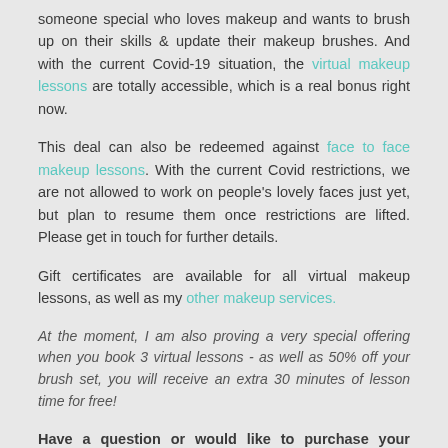someone special who loves makeup and wants to brush up on their skills & update their makeup brushes. And with the current Covid-19 situation, the virtual makeup lessons are totally accessible, which is a real bonus right now.
This deal can also be redeemed against face to face makeup lessons. With the current Covid restrictions, we are not allowed to work on people's lovely faces just yet, but plan to resume them once restrictions are lifted. Please get in touch for further details.
Gift certificates are available for all virtual makeup lessons, as well as my other makeup services.
At the moment, I am also proving a very special offering when you book 3 virtual lessons - as well as 50% off your brush set, you will receive an extra 30 minutes of lesson time for free!
Have a question or would like to purchase your virtual